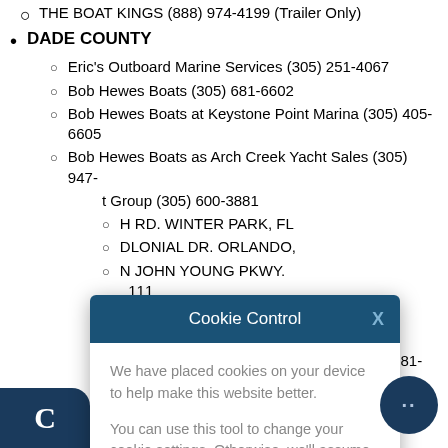THE BOAT KINGS (888) 974-4199 (Trailer Only)
DADE COUNTY
Eric's Outboard Marine Services (305) 251-4067
Bob Hewes Boats (305) 681-6602
Bob Hewes Boats at Keystone Point Marina (305) 405-6605
Bob Hewes Boats as Arch Creek Yacht Sales (305) 947-
t Group (305) 600-3881
H RD. WINTER PARK, FL
DLONIAL DR. ORLANDO,
N JOHN YOUNG PKWY. 111
4-4109
INC. (561) 863-
PALM BEACH OUTBOARDS INC. (561) 881-0202
TUPPEN'S MARINE (561) 588-3366
[Figure (screenshot): Cookie Control modal dialog with teal/dark blue header, body text about cookies, a green 'I'm fine with this' button, and links for 'Information and Settings' and 'About our cookies']